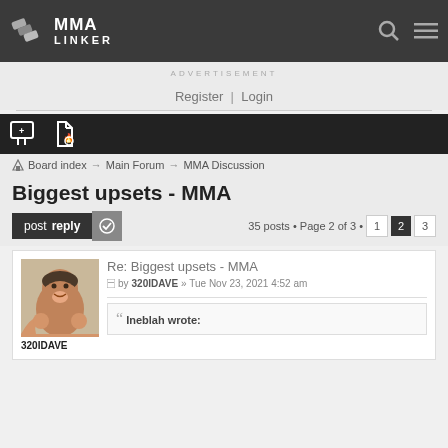MMA LINKER
ADVERTISEMENT
Register | Login
Board index → Main Forum → MMA Discussion
Biggest upsets - MMA
post reply · 35 posts • Page 2 of 3 • 1 2 3
Re: Biggest upsets - MMA
by 320IDAVE » Tue Nov 23, 2021 4:52 am
320IDAVE
Ineblah wrote: